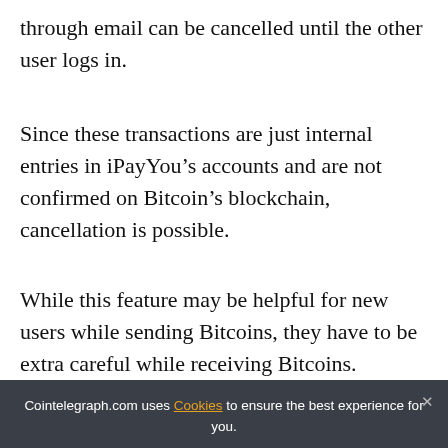through email can be cancelled until the other user logs in.
Since these transactions are just internal entries in iPayYou’s accounts and are not confirmed on Bitcoin’s blockchain, cancellation is possible.
While this feature may be helpful for new users while sending Bitcoins, they have to be extra careful while receiving Bitcoins.
[Figure (screenshot): Social share buttons bar with icons for Facebook, Twitter, Telegram, Reddit, LinkedIn, WhatsApp, Copy, and scroll-to-top]
#B
Cointelegraph.com uses Cookies to ensure the best experience for you. ACCEPT
RELATED NEWS
How to store Bitcoin on MetaMask